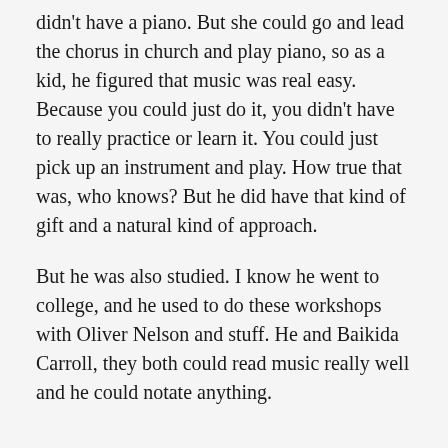didn't have a piano. But she could go and lead the chorus in church and play piano, so as a kid, he figured that music was real easy. Because you could just do it, you didn't have to really practice or learn it. You could just pick up an instrument and play. How true that was, who knows? But he did have that kind of gift and a natural kind of approach.
But he was also studied. I know he went to college, and he used to do these workshops with Oliver Nelson and stuff. He and Baikida Carroll, they both could read music really well and he could notate anything.